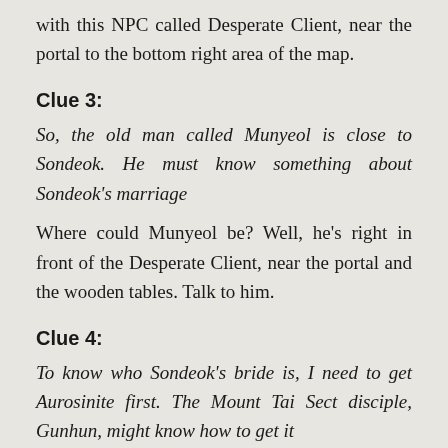with this NPC called Desperate Client, near the portal to the bottom right area of the map.
Clue 3:
So, the old man called Munyeol is close to Sondeok. He must know something about Sondeok's marriage
Where could Munyeol be? Well, he's right in front of the Desperate Client, near the portal and the wooden tables. Talk to him.
Clue 4:
To know who Sondeok's bride is, I need to get Aurosinite first. The Mount Tai Sect disciple, Gunhun, might know how to get it
Back to Bicheon Town and Gunhun, who was your first acquaintance in this Mystery Quest. Talk to him